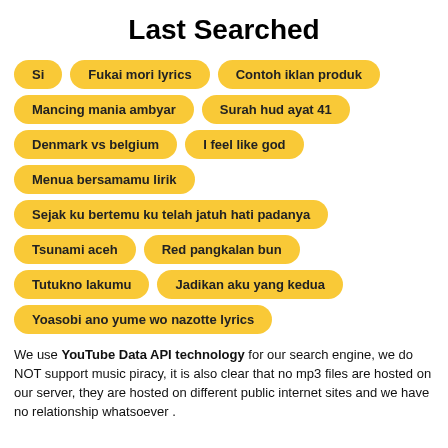Last Searched
Si
Fukai mori lyrics
Contoh iklan produk
Mancing mania ambyar
Surah hud ayat 41
Denmark vs belgium
I feel like god
Menua bersamamu lirik
Sejak ku bertemu ku telah jatuh hati padanya
Tsunami aceh
Red pangkalan bun
Tutukno lakumu
Jadikan aku yang kedua
Yoasobi ano yume wo nazotte lyrics
We use YouTube Data API technology for our search engine, we do NOT support music piracy, it is also clear that no mp3 files are hosted on our server, they are hosted on different public internet sites and we have no relationship whatsoever .